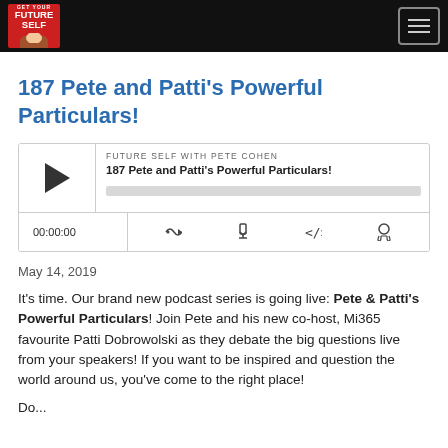FUTURE SELF (logo) — navigation header
187 Pete and Patti's Powerful Particulars!
[Figure (screenshot): Podcast audio player widget showing 'FUTURE SELF WITH PETE COHEN' and episode title '187 Pete and Patti's Powerful Particulars!' with play button, progress bar, timestamp 00:00:00, and control icons for RSS, download, embed, and headphones.]
May 14, 2019
It's time. Our brand new podcast series is going live: Pete & Patti's Powerful Particulars! Join Pete and his new co-host, Mi365 favourite Patti Dobrowolski as they debate the big questions live from your speakers! If you want to be inspired and question the world around us, you've come to the right place!
Do...